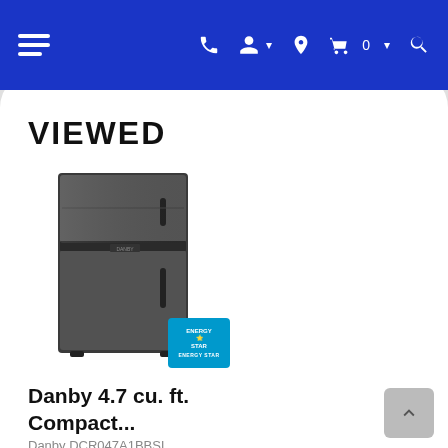Navigation bar with hamburger menu, phone, account, location, cart (0), and search icons
VIEWED
[Figure (photo): Danby compact refrigerator with two doors (freezer on top, fridge on bottom), dark stainless steel finish, with ENERGY STAR badge in bottom right corner]
Danby 4.7 cu. ft. Compact...
Danby DCR047A1BBSL
Call for Our Best Price